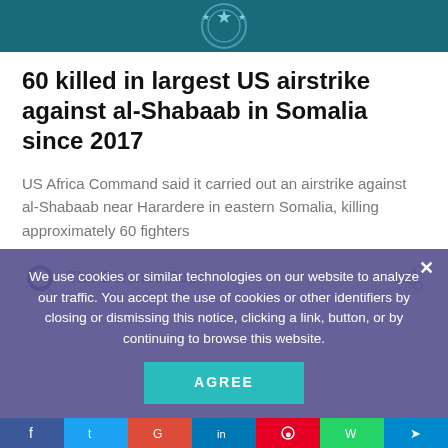[Figure (photo): Dark teal banner with a star emblem (US Africa Command logo) partially visible at top of page]
60 killed in largest US airstrike against al-Shabaab in Somalia since 2017
US Africa Command said it carried out an airstrike against al-Shabaab near Harardere in eastern Somalia, killing approximately 60 fighters
The Defense Post
We use cookies or similar technologies on our website to analyze our traffic. You accept the use of cookies or other identifiers by closing or dismissing this notice, clicking a link, button, or by continuing to browse this website.
AGREE